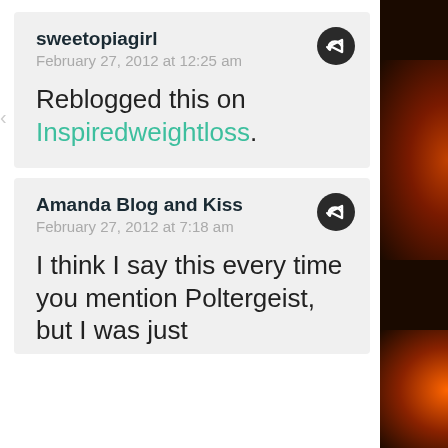sweetopiagirl
February 27, 2012 at 12:25 am

Reblogged this on Inspiredweightloss.
Amanda Blog and Kiss
February 27, 2012 at 7:18 am

I think I say this every time you mention Poltergeist, but I was just